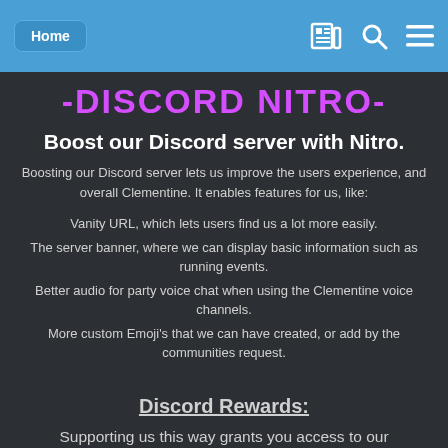Home
-DISCORD NITRO-
Boost our Discord server with Nitro.
Boosting our Discord server lets us improve the users experience, and overall Clementine. It enables features for us, like:
Vanity URL, which lets users find us a lot more easily.
The server banner, where we can display basic information such as running events.
Better audio for party voice chat when using the Clementine voice channels.
More custom Emoji's that we can have created, or add by the communities request.
Discord Rewards:
Supporting us this way grants you access to our